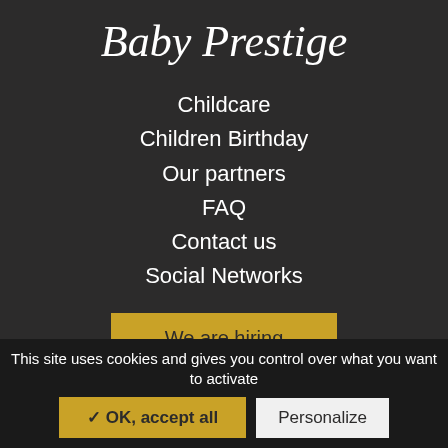Baby Prestige
Childcare
Children Birthday
Our partners
FAQ
Contact us
Social Networks
We are hiring
Shop
Subscription
This site uses cookies and gives you control over what you want to activate
✓ OK, accept all
Personalize